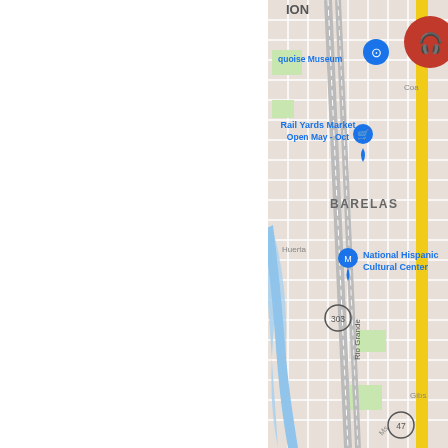[Figure (map): Google Maps screenshot showing the Barelas neighborhood in Albuquerque, NM. Visible landmarks include Rail Yards Market (Open May - Oct), National Hispanic Cultural Center, and partial text for a Turquoise Museum. Broadway Blvd SE runs vertically. The Rio Grande is visible on the left. Route 303 and Route 47 markers are visible. A red circular headphones icon (audio guide button) is in the upper right corner, along with a camera icon. The left half of the image is white/blank.]